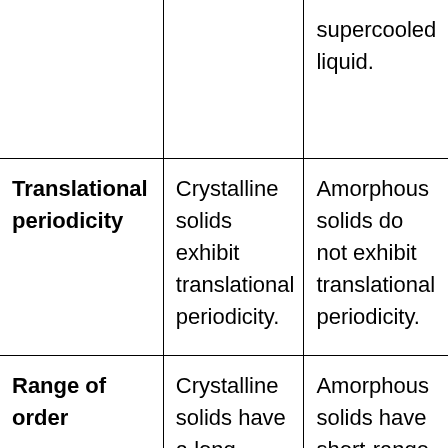| Property | Crystalline Solids | Amorphous Solids |
| --- | --- | --- |
|  |  | supercooled liquid. |
| Translational periodicity | Crystalline solids exhibit translational periodicity. | Amorphous solids do not exhibit translational periodicity. |
| Range of order | Crystalline solids have a long-range order. | Amorphous solids have short-range order. |
|  |  | Amorphous solids melt |